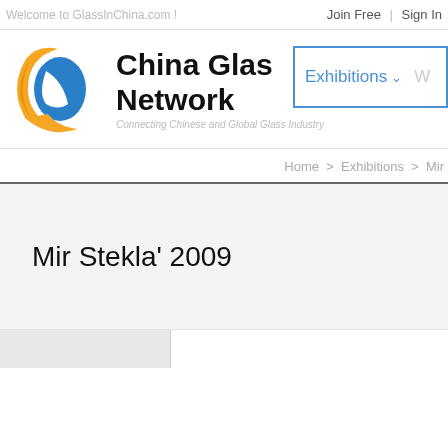Welcome to GlassInChina.com !   Join Free  |  Sign In
[Figure (logo): China Glass Network logo with blue and orange bird/globe graphic and bold text reading 'China Glass Network', tagline 'Connecting Chinese and Global Glass Industry']
Exhibitions ∨   W
Home > Exhibitions > Mir
Mir Stekla' 2009